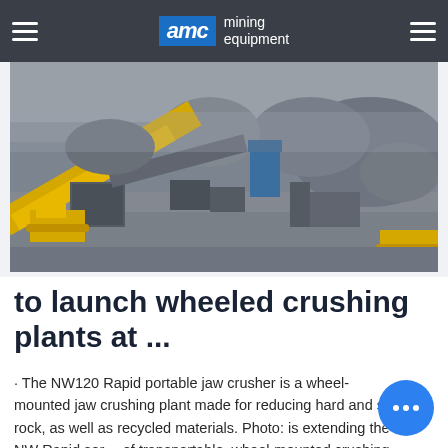AMC mining equipment
[Figure (photo): Aerial view of a mining site with wheeled crushing plants and heavy equipment including yellow bulldozers on rocky terrain]
to launch wheeled crushing plants at ...
· The NW120 Rapid portable jaw crusher is a wheel-mounted jaw crushing plant made for reducing hard and soft rock, as well as recycled materials. Photo: is extending the NW Rapid series of transportable, wheel-mounted crushing plants